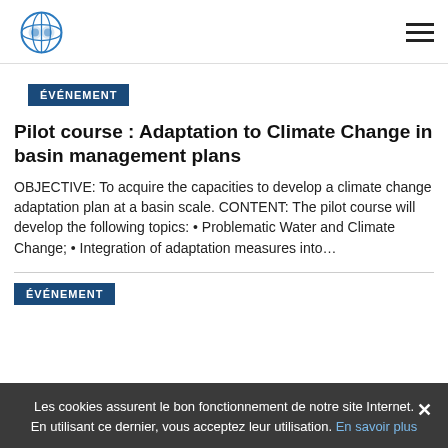[Logo] [Hamburger menu]
ÉVÉNEMENT
Pilot course : Adaptation to Climate Change in basin management plans
OBJECTIVE: To acquire the capacities to develop a climate change adaptation plan at a basin scale. CONTENT: The pilot course will develop the following topics: • Problematic Water and Climate Change; • Integration of adaptation measures into…
ÉVÉNEMENT
Les cookies assurent le bon fonctionnement de notre site Internet. En utilisant ce dernier, vous acceptez leur utilisation. En savoir plus